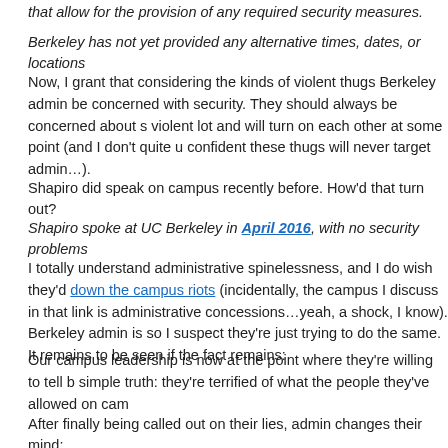that allow for the provision of any required security measures.
Berkeley has not yet provided any alternative times, dates, or locations
Now, I grant that considering the kinds of violent thugs Berkeley admin be concerned with security. They should always be concerned about s violent lot and will turn on each other at some point (and I don't quite u confident these thugs will never target admin…).
Shapiro did speak on campus recently before. How'd that turn out?
Shapiro spoke at UC Berkeley in April 2016, with no security problems
I totally understand administrative spinelessness, and I do wish they'd down the campus riots (incidentally, the campus I discuss in that link is administrative concessions…yeah, a shock, I know). Berkeley admin is so I suspect they're just trying to do the same. It remains to be seen if the fact remains:
Our campus leadership is now at the point where they're willing to tell b simple truth: they're terrified of what the people they've allowed on cam
After finally being called out on their lies, admin changes their mind: